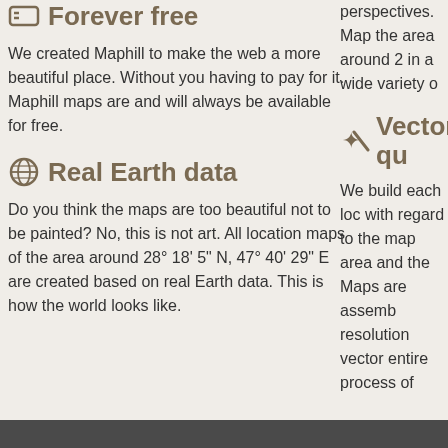Forever free
We created Maphill to make the web a more beautiful place. Without you having to pay for it. Maphill maps are and will always be available for free.
Real Earth data
Do you think the maps are too beautiful not to be painted? No, this is not art. All location maps of the area around 28° 18' 5" N, 47° 40' 29" E are created based on real Earth data. This is how the world looks like.
perspectives. Map the area around 2 in a wide variety o
Vector qu
We build each loc with regard to the map area and the Maps are assemb resolution vector entire process of